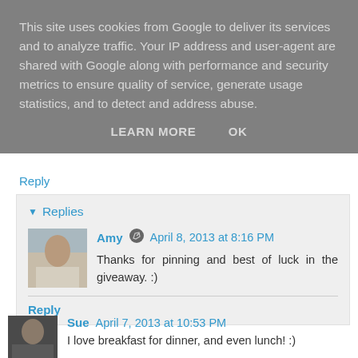This site uses cookies from Google to deliver its services and to analyze traffic. Your IP address and user-agent are shared with Google along with performance and security metrics to ensure quality of service, generate usage statistics, and to detect and address abuse.
LEARN MORE    OK
Reply
Replies
Amy  April 8, 2013 at 8:16 PM
Thanks for pinning and best of luck in the giveaway. :)
Reply
Sue  April 7, 2013 at 10:53 PM
I love breakfast for dinner, and even lunch! :)